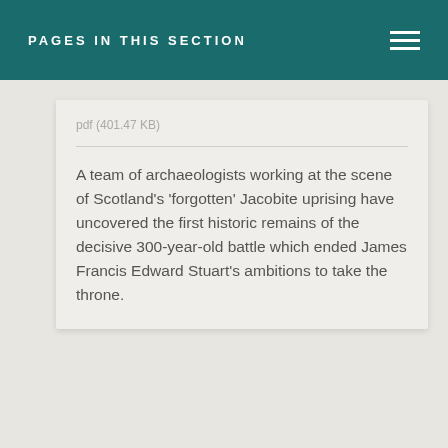PAGES IN THIS SECTION
pdf (401.47 KB)
A team of archaeologists working at the scene of Scotland's 'forgotten' Jacobite uprising have uncovered the first historic remains of the decisive 300-year-old battle which ended James Francis Edward Stuart's ambitions to take the throne.